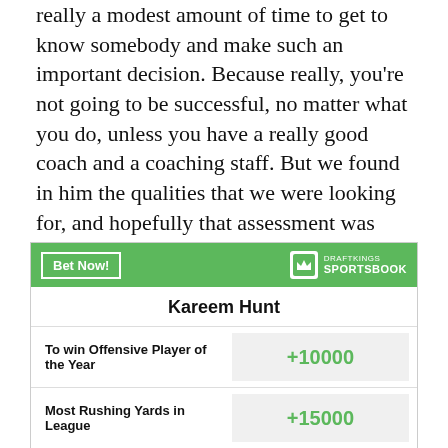really a modest amount of time to get to know somebody and make such an important decision. Because really, you're not going to be successful, no matter what you do, unless you have a really good coach and a coaching staff. But we found in him the qualities that we were looking for, and hopefully that assessment was right. I think so far he's seeing the signs that he is what we thought we were getting."
|  | Odds |
| --- | --- |
| Kareem Hunt |  |
| To win Offensive Player of the Year | +10000 |
| Most Rushing Yards in League | +15000 |